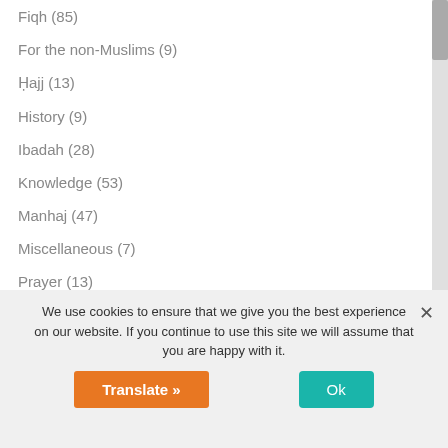Fiqh (85)
For the non-Muslims (9)
Ḥajj (13)
History (9)
Ibadah (28)
Knowledge (53)
Manhaj (47)
Miscellaneous (7)
Prayer (13)
Qur'ān (5)
Ramadan (21)
We use cookies to ensure that we give you the best experience on our website. If you continue to use this site we will assume that you are happy with it.
Ok
Translate »